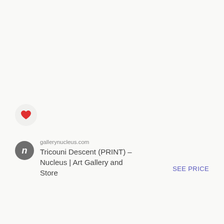[Figure (illustration): Heart/favorite button icon — a red heart centered in a light gray circular background]
[Figure (logo): Nucleus gallery circular logo — gray circle with white italic 'n']
gallerynucleus.com
Tricouni Descent (PRINT) – Nucleus | Art Gallery and Store
SEE PRICE